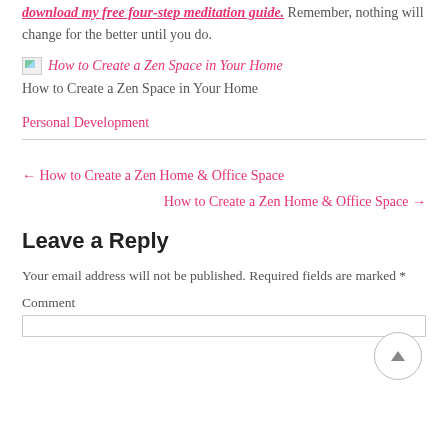download my free four-step meditation guide. Remember, nothing will change for the better until you do.
[Figure (photo): Broken image placeholder linking to 'How to Create a Zen Space in Your Home']
How to Create a Zen Space in Your Home
Personal Development
← How to Create a Zen Home & Office Space
How to Create a Zen Home & Office Space →
Leave a Reply
Your email address will not be published. Required fields are marked *
Comment